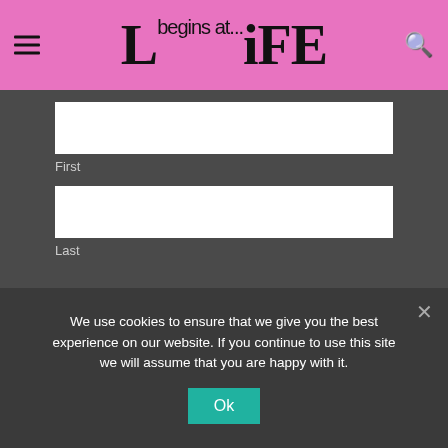Life begins at... LIFE
First
Last
SUBSCRIBE
We use cookies to ensure that we give you the best experience on our website. If you continue to use this site we will assume that you are happy with it.
Ok